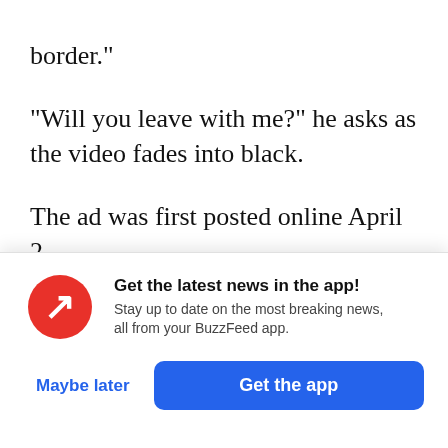border."
"Will you leave with me?" he asks as the video fades into black.
The ad was first posted online April 2.
In a statement to BuzzFeed News, Ancestry, one of
[Figure (screenshot): BuzzFeed app notification modal with red BuzzFeed icon, headline 'Get the latest news in the app!', subtitle 'Stay up to date on the most breaking news, all from your BuzzFeed app.', and two buttons: 'Maybe later' (blue text) and 'Get the app' (blue filled button).]